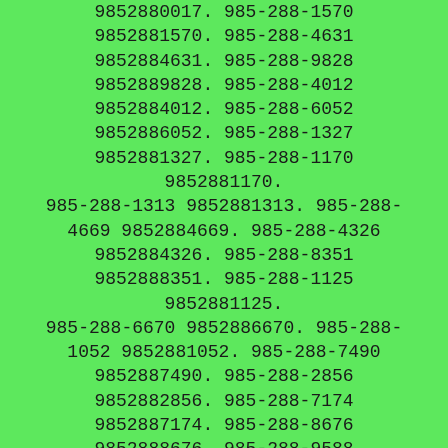9852880017. 985-288-1570 9852881570. 985-288-4631 9852884631. 985-288-9828 9852889828. 985-288-4012 9852884012. 985-288-6052 9852886052. 985-288-1327 9852881327. 985-288-1170 9852881170. 985-288-1313 9852881313. 985-288-4669 9852884669. 985-288-4326 9852884326. 985-288-8351 9852888351. 985-288-1125 9852881125. 985-288-6670 9852886670. 985-288-1052 9852881052. 985-288-7490 9852887490. 985-288-2856 9852882856. 985-288-7174 9852887174. 985-288-8676 9852888676. 985-288-9588 9852889588. 985-288-7968 9852887968. 985-288-0074 9852880074. 985-288-2337 9852882337. 985-288-5162 9852885162. 985-288-4703 9852884703. 985-288-2605 9852882605. 985-288-4625 9852884625. 985-288-6357 9852886257. 985-288-2424